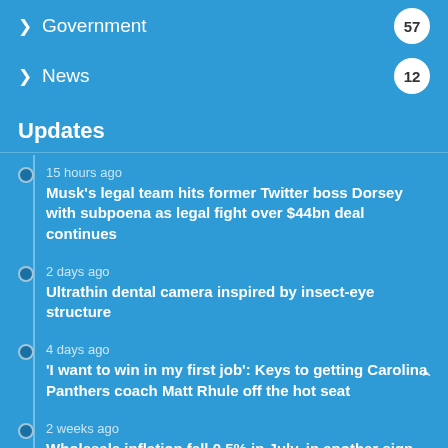Government 57
News 12
Updates
15 hours ago — Musk's legal team hits former Twitter boss Dorsey with subpoena as legal fight over $44bn deal continues
2 days ago — Ultrathin dental camera inspired by insect-eye structure
4 days ago — 'I want to win in my first job': Keys to getting Carolina Panthers coach Matt Rhule off the hot seat
2 weeks ago — Wholesale inflation fell 0.5% in July, in another sign that price increases are slowing
2 days ago — India flash floods kill 40 as bridges collapse & homes